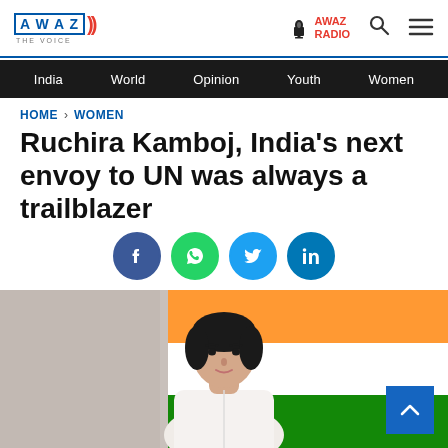AWAZ THE VOICE | AWAZ RADIO
India  World  Opinion  Youth  Women
HOME > WOMEN
Ruchira Kamboj, India's next envoy to UN was always a trailblazer
[Figure (other): Social sharing icons: Facebook, WhatsApp, Twitter, LinkedIn]
[Figure (photo): Photo of Ruchira Kamboj in white outfit in front of Indian flag (saffron, white, green stripes)]